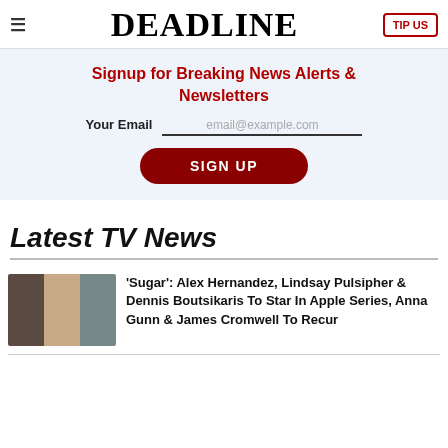≡  DEADLINE  TIP US
Signup for Breaking News Alerts & Newsletters
Your Email  email@example.com
SIGN UP
Latest TV News
'Sugar': Alex Hernandez, Lindsay Pulsipher & Dennis Boutsikaris To Star In Apple Series, Anna Gunn & James Cromwell To Recur